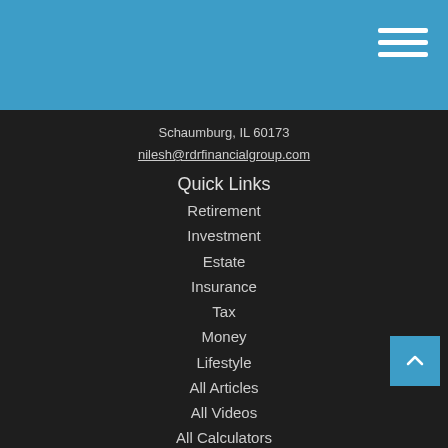Navigation header with hamburger menu
Schaumburg, IL 60173
nilesh@rdrfinancialgroup.com
Quick Links
Retirement
Investment
Estate
Insurance
Tax
Money
Lifestyle
All Articles
All Videos
All Calculators
All Presentations
Check the background of your financial professional on FINRA's BrokerCheck.
The content is developed from sources believed to be providing accurate information. The information in this material is not intended as tax or legal advice. Please consult legal or tax professionals for specific information regarding your individual situation.